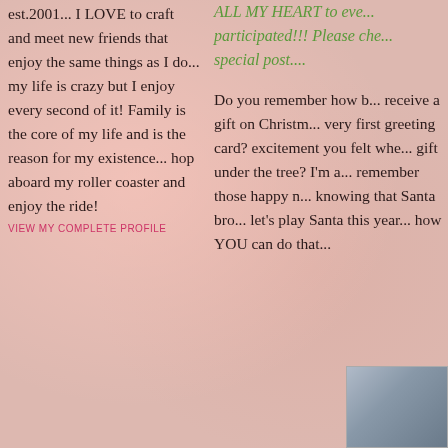est.2001... I LOVE to craft and meet new friends that enjoy the same things as I do... my life is crazy but I enjoy every second of it! Family is the core of my life and is the reason for my existence... hop aboard my roller coaster and enjoy the ride!
VIEW MY COMPLETE PROFILE
ALL MY HEART to eve... participated!!! Please che... special post....
Do you remember how b... receive a gift on Christm... very first greeting card? excitement you felt whe... gift under the tree? I'm a... remember those happy n... knowing that Santa bro... let's play Santa this year... how YOU can do that...
[Figure (photo): Small thumbnail image in bottom right corner, appears to show a wintry or decorative scene]